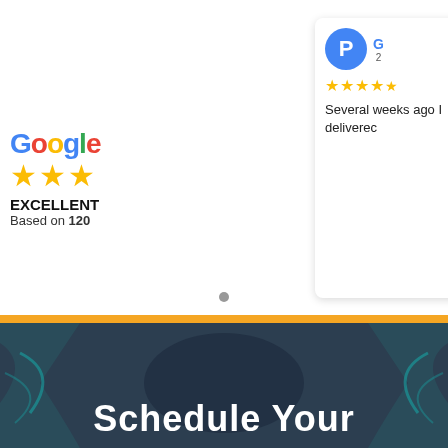[Figure (screenshot): Google reviews widget showing overall rating (3 stars, EXCELLENT, Based on 120) and three individual review cards with user avatars, 4.5-star ratings, and truncated review text: 'Several weeks ago I deliverec', 'I recently came in for a', 'What a wonderfu experien I have']
Schedule Your